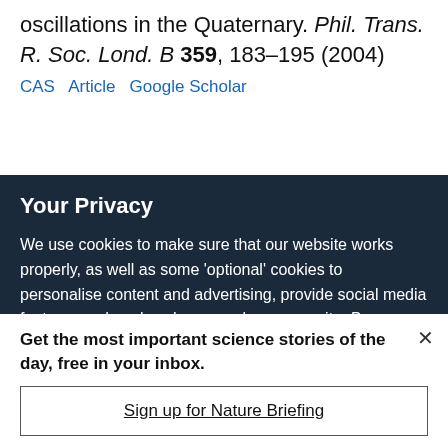oscillations in the Quaternary. Phil. Trans. R. Soc. Lond. B 359, 183–195 (2004)
CAS  Article  Google Scholar
Your Privacy
We use cookies to make sure that our website works properly, as well as some 'optional' cookies to personalise content and advertising, provide social media features and analyse how people use our site. By accepting some or all optional cookies you give consent to the processing of your personal data, including transfer to third parties, some in countries outside of the European Economic Area that do not offer the same data protection standards as the country where you live. You can decide which optional cookies to accept by clicking on 'Manage Settings', where you can
Get the most important science stories of the day, free in your inbox.
Sign up for Nature Briefing